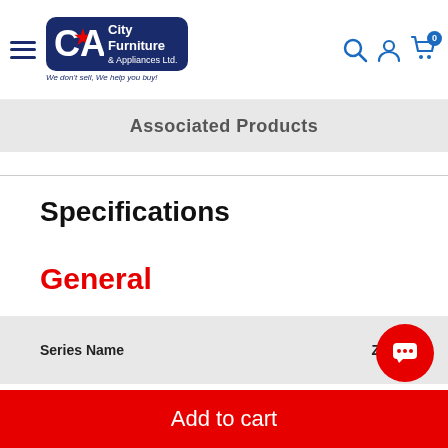[Figure (logo): City Furniture & Appliances Ltd. logo with tagline 'We don't sell, We help you buy!']
Associated Products
Specifications
General
| Attribute | Value |
| --- | --- |
| Series Name | Zelen |
| Size |  |
Add to cart